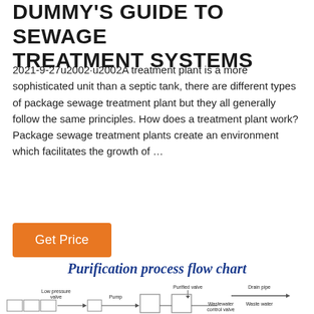DUMMY'S GUIDE TO SEWAGE TREATMENT SYSTEMS
2021-9-27u2002·u2002A treatment plant is a more sophisticated unit than a septic tank, there are different types of package sewage treatment plant but they all generally follow the same principles. How does a treatment plant work? Package sewage treatment plants create an environment which facilitates the growth of …
Get Price
Purification process flow chart
[Figure (flowchart): Purification process flow chart showing components including Low pressure valve, Pump, Purified valve, Drain pipe, Wastewater control valve, and Waste water with connecting pipes and tanks]